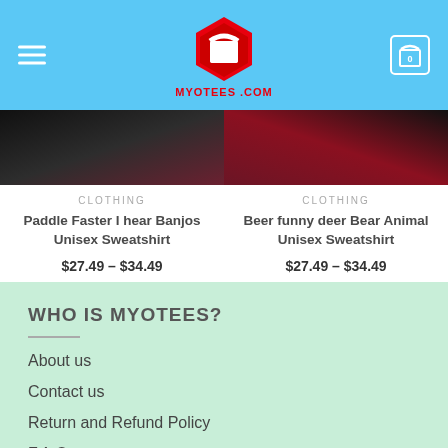[Figure (logo): MYOTEES.COM logo with red hexagon shirt icon on blue header background with hamburger menu and cart icon]
[Figure (photo): Cropped bottom portion of two product sweatshirts — left is dark/maroon colored, right is dark red/maroon colored]
CLOTHING
Paddle Faster I hear Banjos Unisex Sweatshirt
$27.49 – $34.49
CLOTHING
Beer funny deer Bear Animal Unisex Sweatshirt
$27.49 – $34.49
WHO IS MYOTEES?
About us
Contact us
Return and Refund Policy
F.A.Q